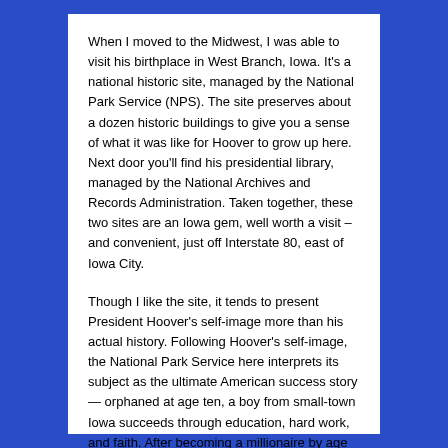When I moved to the Midwest, I was able to visit his birthplace in West Branch, Iowa. It's a national historic site, managed by the National Park Service (NPS). The site preserves about a dozen historic buildings to give you a sense of what it was like for Hoover to grow up here. Next door you'll find his presidential library, managed by the National Archives and Records Administration. Taken together, these two sites are an Iowa gem, well worth a visit – and convenient, just off Interstate 80, east of Iowa City.
Though I like the site, it tends to present President Hoover's self-image more than his actual history. Following Hoover's self-image, the National Park Service here interprets its subject as the ultimate American success story — orphaned at age ten, a boy from small-town Iowa succeeds through education, hard work, and faith. After becoming a millionaire by age 40, the story goes, he turns to public service and eventually reaches the presidency.